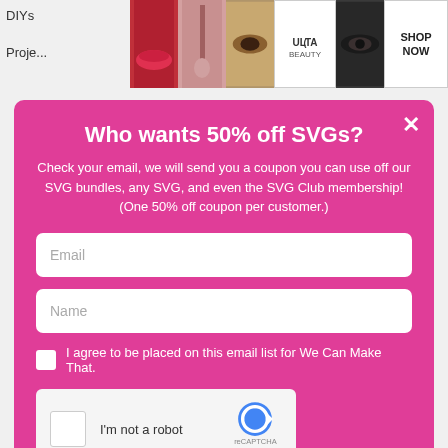[Figure (screenshot): Website header with DIYs and Projects navigation text on the left, and a horizontal strip of beauty/makeup photos and an Ulta Beauty ad with SHOP NOW on the right]
Who wants 50% off SVGs?
Check your email, we will send you a coupon you can use off our SVG bundles, any SVG, and even the SVG Club membership! (One 50% off coupon per customer.)
Email
Name
I agree to be placed on this email list for We Can Make That.
[Figure (screenshot): reCAPTCHA widget with checkbox, 'I'm not a robot' text, and reCAPTCHA logo with Privacy and Terms links]
YES! I LOVE CRAFTING STUFF